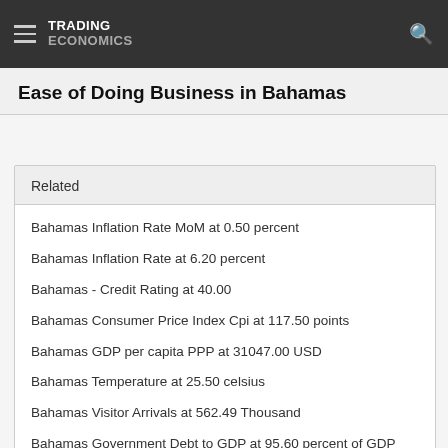TRADING ECONOMICS
Ease of Doing Business in Bahamas
Related
Bahamas Inflation Rate MoM at 0.50 percent
Bahamas Inflation Rate at 6.20 percent
Bahamas - Credit Rating at 40.00
Bahamas Consumer Price Index Cpi at 117.50 points
Bahamas GDP per capita PPP at 31047.00 USD
Bahamas Temperature at 25.50 celsius
Bahamas Visitor Arrivals at 562.49 Thousand
Bahamas Government Debt to GDP at 95.60 percent of GDP
Bahamas Private Sector Credit at 5517.15 BSD Million